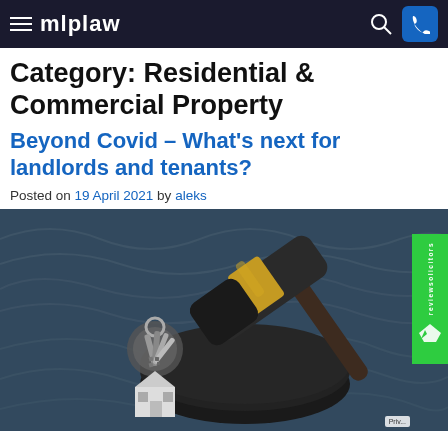mlplaw
Category: Residential & Commercial Property
Beyond Covid – What's next for landlords and tenants?
Posted on 19 April 2021 by aleks
[Figure (photo): A wooden judge's gavel with a gold band resting on a black circular sound block, beside a set of keys on a key ring with a house-shaped keychain, placed on a dark textured surface.]